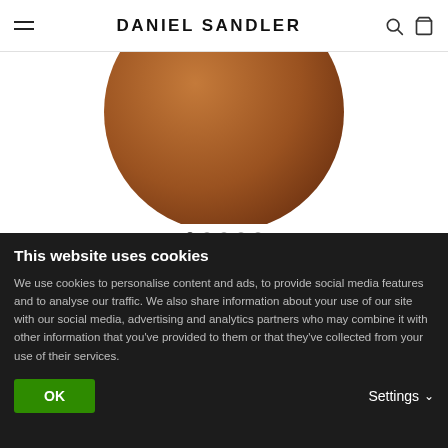DANIEL SANDLER
[Figure (photo): Bottom half of a round brown bronzer compact product, circular shape with a dark brown matte surface, shown against white background]
WATERCOLOUR LIQUID BRONZER HOT TOTTY SAMPLE
317 reviews (4.5 stars rating)
This website uses cookies

We use cookies to personalise content and ads, to provide social media features and to analyse our traffic. We also share information about your use of our site with our social media, advertising and analytics partners who may combine it with other information that you've provided to them or that they've collected from your use of their services.

OK    Settings